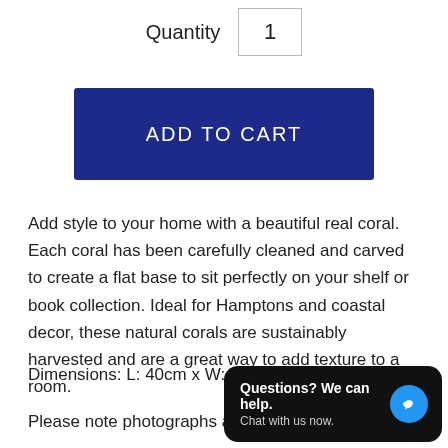Quantity  1
ADD TO CART
Add style to your home with a beautiful real coral. Each coral has been carefully cleaned and carved to create a flat base to sit perfectly on your shelf or book collection. Ideal for Hamptons and coastal decor, these natural corals are sustainably harvested and are a great way to add texture to a room.
Dimensions: L: 40cm x W: 30cm x H: 12cm
Please note photographs are of the actual item you will receive. This is an all natural product will vary in size and shape. Variations in size and imperfections are what make adding character and beauty to each piece. Viewing welcome